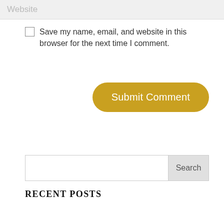Website
Save my name, email, and website in this browser for the next time I comment.
[Figure (other): Submit Comment button — gold/yellow rounded rectangle button with white text]
[Figure (other): Search input field with Search button on the right]
RECENT POSTS
Episode 49: How Marketing is like Dating
Episode 48: Learning to Sell Without Being Salesy ft. Justine Wan
Episode 47: Applying StoryBrand to Social Media